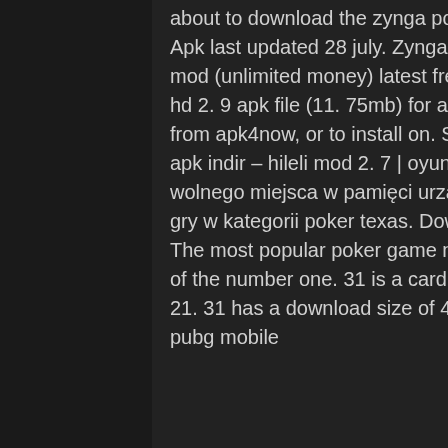about to download the zynga poker ™ – texas holdem 21. 11 apk file for android 2. Apk last updated 28 july. Zynga poker – free texas holdem online card games apk + mod (unlimited money) latest free download for android. Download poker slovenija hd 2. 9 apk file (11. 75mb) for android with direct link, free card game to download from apk4now, or to install on. Subway surfers apk android oyun club. Clash royale apk indir – hileli mod 2. 7 | oyun indir. Wymagania instalacyjne: minimum 42m wolnego miejsca w pamięci urządzenia i android 2. Ocena: top 10 najpopularniejsze gry w kategorii poker texas. Download the apk of zynga poker for android for free. The most popular poker game now in your pocket. Zynga poker is a portable version of the number one. 31 is a card game game for android 4. The apk of zynga poker 21. 31 has a download size of 48. Memoryhackers - valorant hack, lol hack script, pubg mobile